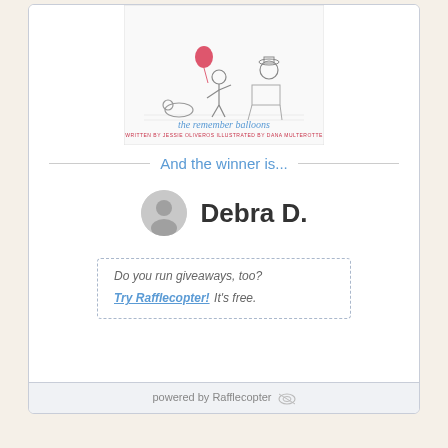[Figure (illustration): Book cover of 'The Remember Balloons' written by Jessie Oliveros, illustrated by Dana Mulyterotte. Shows a child holding a red balloon, an elderly man sitting in a rocking chair, and a small dog.]
And the winner is...
[Figure (illustration): Gray avatar/profile icon circle representing the winner Debra D.]
Debra D.
Do you run giveaways, too? Try Rafflecopter! It's free.
powered by Rafflecopter